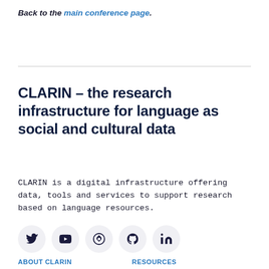Back to the main conference page.
CLARIN – the research infrastructure for language as social and cultural data
CLARIN is a digital infrastructure offering data, tools and services to support research based on language resources.
[Figure (infographic): Row of five social media icon circles: Twitter (bird), YouTube (play button), a circular arrow/Peertube icon, GitHub (octocat), and LinkedIn (in)]
ABOUT CLARIN     RESOURCES